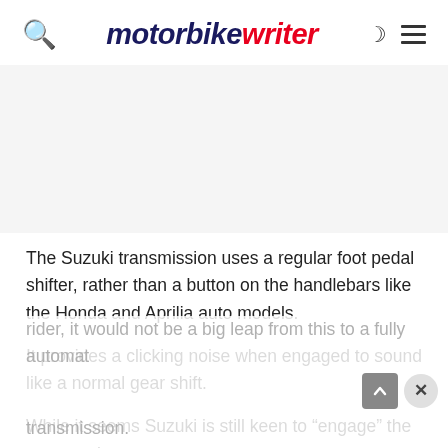motorbike writer
The Suzuki transmission uses a regular foot pedal shifter, rather than a button on the handlebars like the Honda and Aprilia auto models.
It provides a clicking noise when engaged to sound like a normal gear shift.
While it seems Suzuki is still keen to “engage” the motorcycle rider, it would not be a big leap from this to a fully automatic transmission.